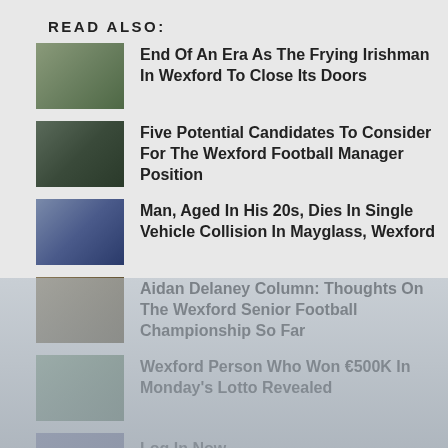READ ALSO:
End Of An Era As The Frying Irishman In Wexford To Close Its Doors
Five Potential Candidates To Consider For The Wexford Football Manager Position
Man, Aged In His 20s, Dies In Single Vehicle Collision In Mayglass, Wexford
Aidan Delaney Column: Thoughts On The Wexford Senior Football Championship So Far
Wexford Person Who Won €500K In Monday's Lotto Revealed
Log In Now
No compatible source was found for this media.